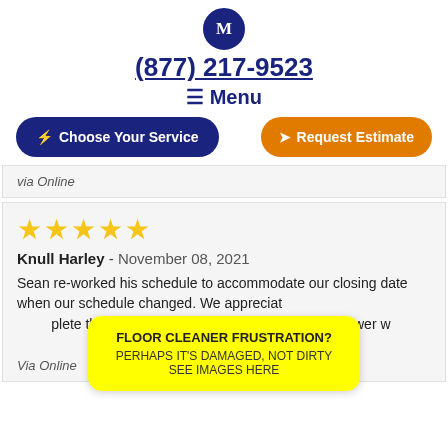[Figure (logo): M logo in dark navy circle]
(877) 217-9523
≡ Menu
⚡ Choose Your Service
➤ Request Estimate
via Online
[Figure (other): Five gold star rating]
Knull Harley - November 08, 2021
Sean re-worked his schedule to accommodate our closing date when our schedule changed. We appreciate the effort he made to complete the floor grout sealing. We love our floors and shower will hopefully last many years!
Via Online
FLOOR CLEANER FRUSTRATION? PERHAPS IT'S DAMAGED, NOT DIRTY SEE IMAGES HERE